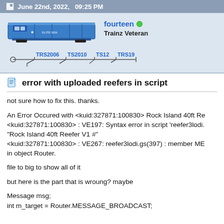June 22nd, 2022,   09:25 PM
[Figure (illustration): Blue freight train car (reefer) illustration, a pixel-art style horizontal rail car in blue and grey with small cab detail]
fourteen ● Trainz Veteran
[Figure (infographic): Version timeline graphic showing TRS2006, TS2010, TS12, TRS19 connected by a horizontal line with tick marks]
error with uploaded reefers in script
not sure how to fix this. thanks.
An Error Occured with <kuid:327871:100830> Rock Island 40ft Re
<kuid:327871:100830> : VE197: Syntax error in script 'reefer3lodi.
"Rock Island 40ft Reefer V1 #"
<kuid:327871:100830> : VE267: reefer3lodi.gs(397) : member ME
in object Router.
file to big to show all of it
but here is the part that is wroung? maybe
Message msg;
int m_target = Router.MESSAGE_BROADCAST;